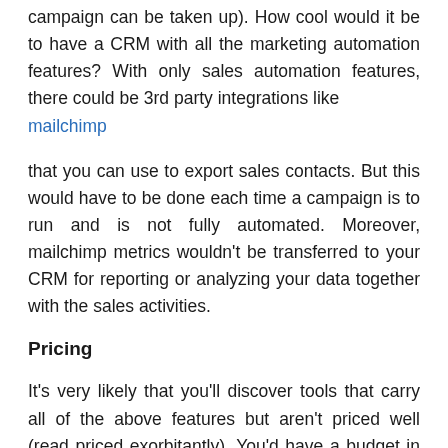campaign can be taken up). How cool would it be to have a CRM with all the marketing automation features? With only sales automation features, there could be 3rd party integrations like
mailchimp
that you can use to export sales contacts. But this would have to be done each time a campaign is to run and is not fully automated. Moreover, mailchimp metrics wouldn't be transferred to your CRM for reporting or analyzing your data together with the sales activities.
Pricing
It's very likely that you'll discover tools that carry all of the above features but aren't priced well (read priced exorbitantly). You'd have a budget in place